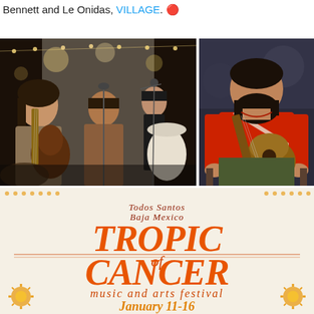Bennett and Le Onidas, VILLAGE. 🔴
[Figure (photo): Three women performing music on stage indoors with string lights and white curtain backdrop. Left woman plays guitar/ukulele, center woman plays guitar at microphone, right woman sings at microphone with a drum behind her.]
[Figure (photo): Bearded man in a red t-shirt sitting and playing acoustic guitar, looking to the side.]
[Figure (other): Festival poster for 'Tropic of Cancer Music and Arts Festival' in Todos Santos, Baja Mexico, January 11-16. Orange and gold retro typography on light background with decorative sun/flower motifs.]